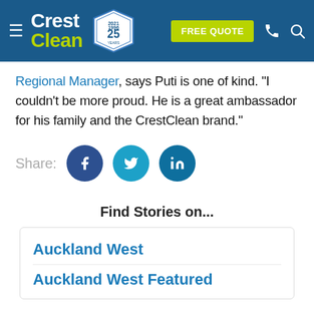[Figure (logo): CrestClean website header with logo, 25 years badge, FREE QUOTE button, phone and search icons on blue background]
Regional Manager, says Puti is one of kind. "I couldn't be more proud. He is a great ambassador for his family and the CrestClean brand."
Share:
[Figure (infographic): Social share buttons: Facebook (dark blue circle with f), Twitter (light blue circle with bird), LinkedIn (teal circle with in)]
Find Stories on...
Auckland West
Auckland West Featured